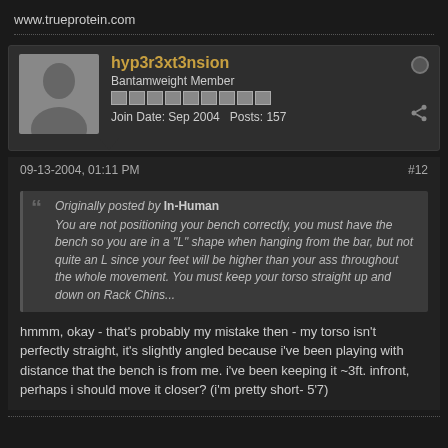www.trueprotein.com
hyp3r3xt3nsion
Bantamweight Member
Join Date: Sep 2004   Posts: 157
09-13-2004, 01:11 PM
#12
Originally posted by In-Human
You are not positioning your bench correctly, you must have the bench so you are in a "L" shape when hanging from the bar, but not quite an L since your feet will be higher than your ass throughout the whole movement. You must keep your torso straight up and down on Rack Chins...
hmmm, okay - that's probably my mistake then - my torso isn't perfectly straight, it's slightly angled because i've been playing with distance that the bench is from me. i've been keeping it ~3ft. infront, perhaps i should move it closer? (i'm pretty short- 5'7)